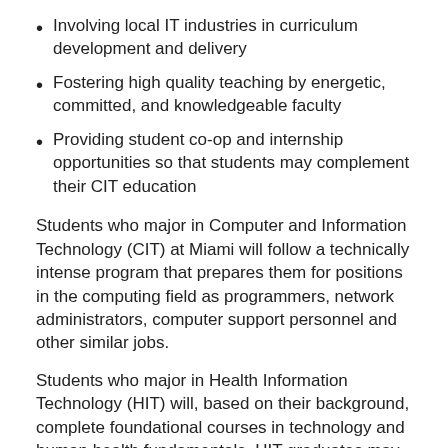Involving local IT industries in curriculum development and delivery
Fostering high quality teaching by energetic, committed, and knowledgeable faculty
Providing student co-op and internship opportunities so that students may complement their CIT education
Students who major in Computer and Information Technology (CIT) at Miami will follow a technically intense program that prepares them for positions in the computing field as programmers, network administrators, computer support personnel and other similar jobs.
Students who major in Health Information Technology (HIT) will, based on their background, complete foundational courses in technology and human health fundamentals. HIT graduates may work in technical support, data analysis, reporting, database administration, user education, software